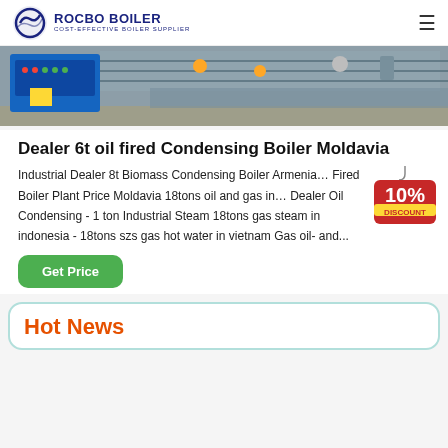ROCBO BOILER — COST-EFFECTIVE BOILER SUPPLIER
[Figure (photo): Industrial boiler equipment with blue control panel, pipes, and fittings on a workshop floor]
Dealer 6t oil fired Condensing Boiler Moldavia
Industrial Dealer 8t Biomass Condensing Boiler Armenia… Fired Boiler Plant Price Moldavia 18tons oil and gas in… Dealer Oil Condensing - 1 ton Industrial Steam 18tons gas steam in indonesia - 18tons szs gas hot water in vietnam Gas oil- and...
[Figure (illustration): 10% DISCOUNT badge/sticker in red and yellow]
Get Price
Hot News